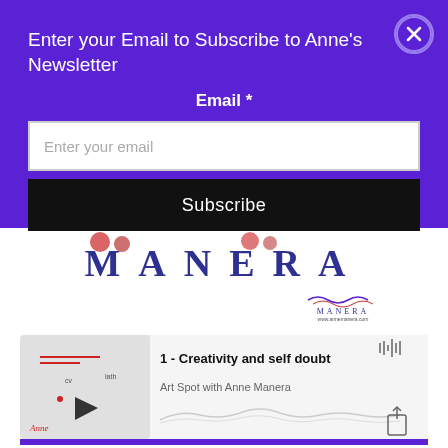Enter your Email to Subscribe to Anne's Newsletter
Email *
Enter your email
Subscribe
[Figure (logo): MANERA brand logo in dark blue serif font with decorative circular elements above]
[Figure (screenshot): Podcast player card showing episode '1 - Creativity and self doubt' from Art Spot with Anne Manera, with play button, waveform icon, and share icon]